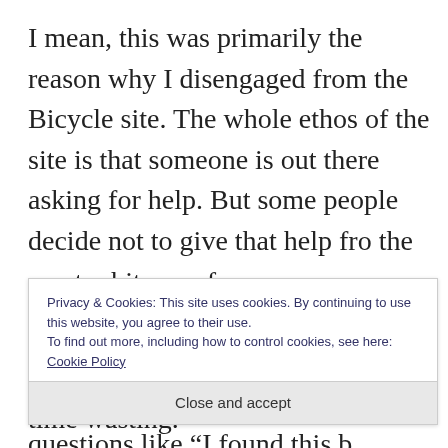I mean, this was primarily the reason why I disengaged from the Bicycle site. The whole ethos of the site is that someone is out there asking for help. But some people decide not to give that help fro the most arbitrary of reasons.

I suppose it is a fine line. On the bicycles site, we often used to get questions like “I found this b
Privacy & Cookies: This site uses cookies. By continuing to use this website, you agree to their use.
To find out more, including how to control cookies, see here: Cookie Policy
Close and accept
is reasonable to conclude that it is time wasting.